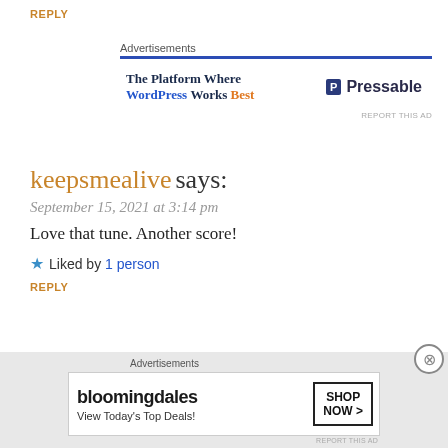REPLY
[Figure (infographic): Pressable advertisement banner: 'The Platform Where WordPress Works Best' with Pressable logo and blue top border]
keepsmealive says:
September 15, 2021 at 3:14 pm
Love that tune. Another score!
Liked by 1 person
REPLY
2loud2oldmusic says:
[Figure (infographic): Bloomingdale's advertisement banner: 'View Today's Top Deals!' with SHOP NOW button and woman in hat image]